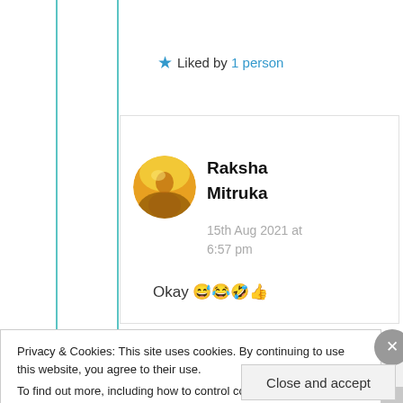★ Liked by 1 person
Raksha Mitruka
15th Aug 2021 at 6:57 pm
Okay 😅😂🤣👍
Privacy & Cookies: This site uses cookies. By continuing to use this website, you agree to their use.
To find out more, including how to control cookies, see here: Cookie Policy
Close and accept